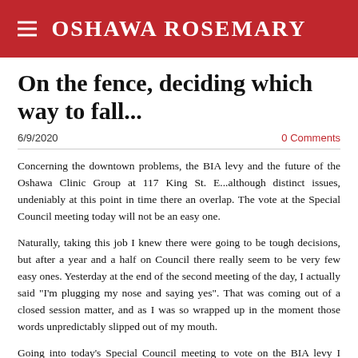OSHAWA ROSEMARY
On the fence, deciding which way to fall...
6/9/2020   0 Comments
Concerning the downtown problems, the BIA levy and the future of the Oshawa Clinic Group at 117 King St. E...although distinct issues, undeniably at this point in time there an overlap. The vote at the Special Council meeting today will not be an easy one.
Naturally, taking this job I knew there were going to be tough decisions, but after a year and a half on Council there really seem to be very few easy ones. Yesterday at the end of the second meeting of the day, I actually said "I'm plugging my nose and saying yes". That was coming out of a closed session matter, and as I was so wrapped up in the moment those words unpredictably slipped out of my mouth.
Going into today's Special Council meeting to vote on the BIA levy I regret to